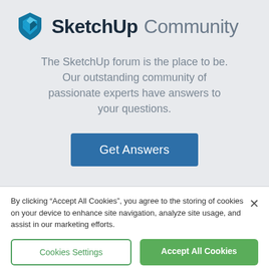[Figure (logo): SketchUp Community logo with blue diamond/shield icon followed by bold 'SketchUp' and light 'Community' text]
The SketchUp forum is the place to be. Our outstanding community of passionate experts have answers to your questions.
Get Answers
By clicking “Accept All Cookies”, you agree to the storing of cookies on your device to enhance site navigation, analyze site usage, and assist in our marketing efforts.
Cookies Settings
Accept All Cookies